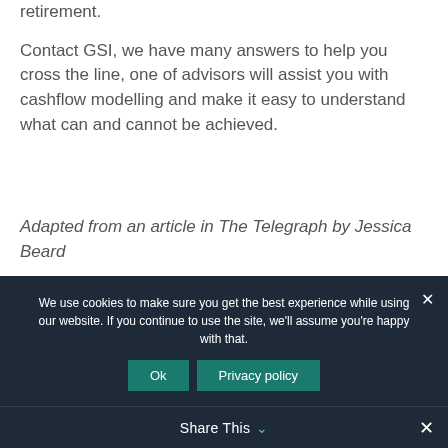retirement.
Contact GSI, we have many answers to help you cross the line, one of advisors will assist you with cashflow modelling and make it easy to understand what can and cannot be achieved.
Adapted from an article in The Telegraph by Jessica Beard
[Figure (other): Red circular logo or button, partially visible at bottom of main content area]
We use cookies to make sure you get the best experience while using our website. If you continue to use the site, we'll assume you're happy with that.
Ok
Privacy policy
Share This